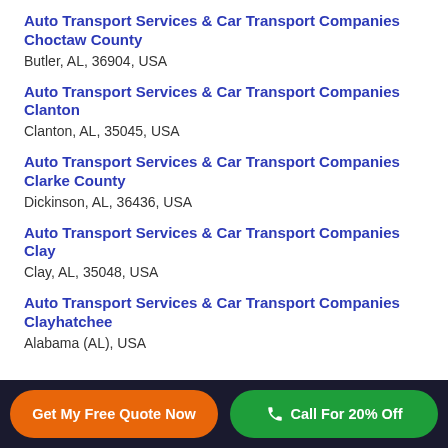Auto Transport Services & Car Transport Companies Choctaw County
Butler, AL, 36904, USA
Auto Transport Services & Car Transport Companies Clanton
Clanton, AL, 35045, USA
Auto Transport Services & Car Transport Companies Clarke County
Dickinson, AL, 36436, USA
Auto Transport Services & Car Transport Companies Clay
Clay, AL, 35048, USA
Auto Transport Services & Car Transport Companies Clayhatchee
Alabama (AL), USA